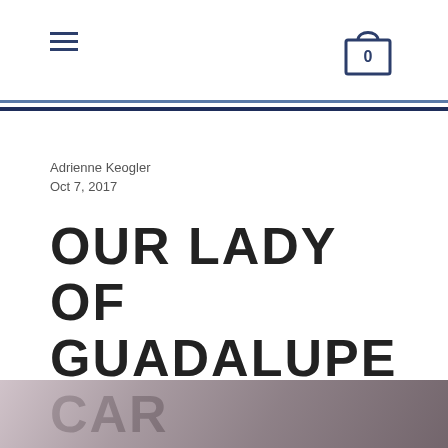Navigation menu icon and shopping cart icon with 0 items
Adrienne Keogler
Oct 7, 2017
OUR LADY OF GUADALUPE CAR MAGNET - THE MESSAGE
[Figure (photo): Partial blurred photo visible at bottom of page]